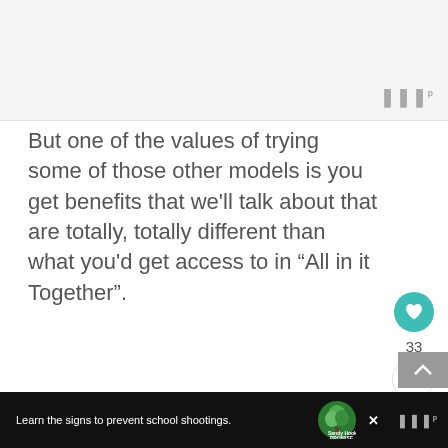[Figure (screenshot): Top gray area representing a partially visible image or slide, with a 'WII' style logo in the bottom-right corner]
But one of the values of trying some of those other models is you get benefits that we'll talk about that are totally, totally different than what you'd get access to in “All in it Together”.
[Figure (other): Like button (teal heart icon) with count 33 and share button]
[Figure (other): Bottom advertisement bar: 'Learn the signs to prevent school shootings.' with Sandy Hook Promise logo and close X button]